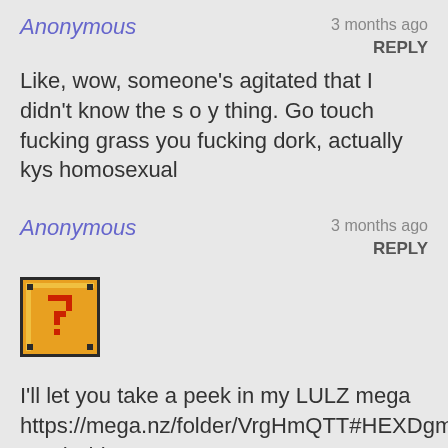Anonymous — 3 months ago REPLY
Like, wow, someone's agitated that I didn't know the s o y thing. Go touch fucking grass you fucking dork, actually kys homosexual
Anonymous — 3 months ago REPLY
[Figure (illustration): Pixel art of a Mario question mark block (orange/yellow box with black border and red question mark)]
I'll let you take a peek in my LULZ mega https://mega.nz/folder/VrgHmQTT#HEXDgmzBWRgSt-_M4hZhiA
There's a section called Poor People just for you